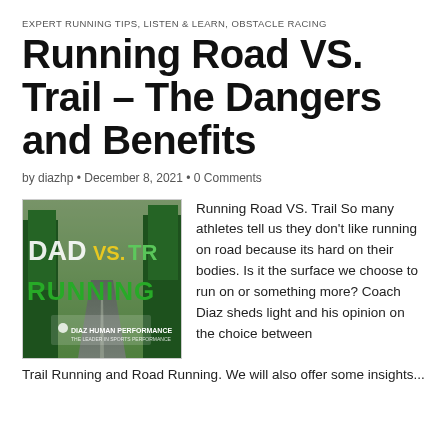EXPERT RUNNING TIPS, LISTEN & LEARN, OBSTACLE RACING
Running Road VS. Trail – The Dangers and Benefits
by diazhp • December 8, 2021 • 0 Comments
[Figure (illustration): Podcast thumbnail image showing 'ROAD vs. TR RUNNING' text overlay on a forest road background, with Diaz Human Performance logo]
Running Road VS. Trail So many athletes tell us they don't like running on road because its hard on their bodies. Is it the surface we choose to run on or something more? Coach Diaz sheds light and his opinion on the choice between Trail Running and Road Running. We will also offer some insights...